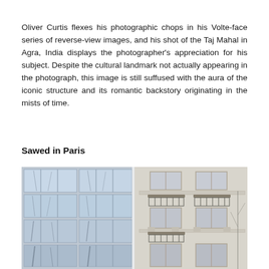Oliver Curtis flexes his photographic chops in his Volte-face series of reverse-view images, and his shot of the Taj Mahal in Agra, India displays the photographer's appreciation for his subject. Despite the cultural landmark not actually appearing in the photograph, this image is still suffused with the aura of the iconic structure and its romantic backstory originating in the mists of time.
Sawed in Paris
[Figure (photo): A composite photograph of Parisian architecture showing two buildings side by side: on the left, a modern glass-and-steel facade with large windows reflecting bare trees; on the right, a classic Haussmann-style stone building with ornate iron balconies and decorative stonework. The image is in cool, muted tones suggesting overcast daylight.]